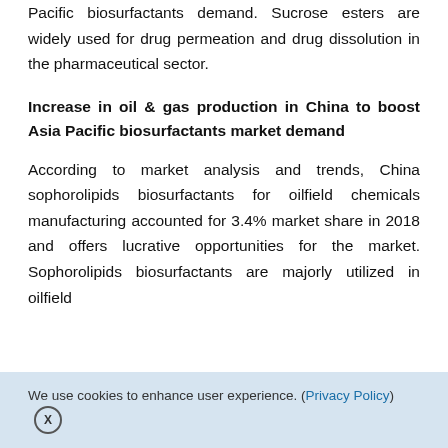Pacific biosurfactants demand. Sucrose esters are widely used for drug permeation and drug dissolution in the pharmaceutical sector.
Increase in oil & gas production in China to boost Asia Pacific biosurfactants market demand
According to market analysis and trends, China sophorolipids biosurfactants for oilfield chemicals manufacturing accounted for 3.4% market share in 2018 and offers lucrative opportunities for the market. Sophorolipids biosurfactants are majorly utilized in oilfield
We use cookies to enhance user experience. (Privacy Policy) X